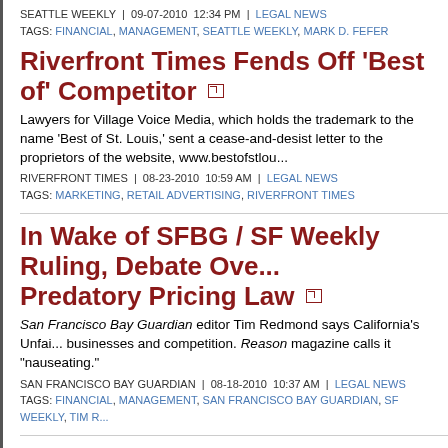SEATTLE WEEKLY | 09-07-2010 12:34 PM | LEGAL NEWS
TAGS: FINANCIAL, MANAGEMENT, SEATTLE WEEKLY, MARK D. FEFER
Riverfront Times Fends Off 'Best of' Competitor
Lawyers for Village Voice Media, which holds the trademark to the name 'Best of St. Louis,' sent a cease-and-desist letter to the proprietors of the website, www.bestofstlou...
RIVERFRONT TIMES | 08-23-2010 10:59 AM | LEGAL NEWS
TAGS: MARKETING, RETAIL ADVERTISING, RIVERFRONT TIMES
In Wake of SFBG / SF Weekly Ruling, Debate Over Predatory Pricing Law
San Francisco Bay Guardian editor Tim Redmond says California's Unfair... businesses and competition. Reason magazine calls it "nauseating."
SAN FRANCISCO BAY GUARDIAN | 08-18-2010 10:37 AM | LEGAL NEWS
TAGS: FINANCIAL, MANAGEMENT, SAN FRANCISCO BAY GUARDIAN, SF WEEKLY, TIM R...
Court Upholds Damages in Bay Guardian / SF Wee...
California's First District Court of Appeal upheld a 2008 verdict which aw... Guardian over $16 million in damages.
SAN FRANCISCO CHRONICLE | 08-12-2010 1:55 PM | LEGAL NEWS
TAGS: FINANCIAL, MANAGEMENT, SAN FRANCISCO BAY GUARDIAN, SF WEEKLY, TIM R...